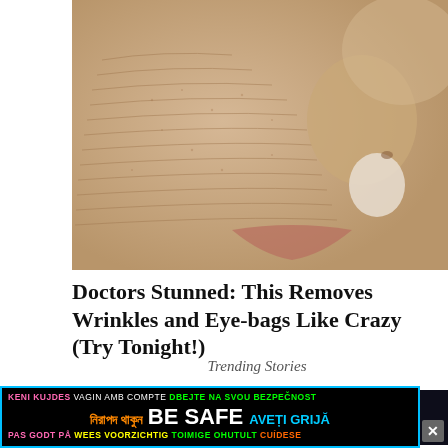[Figure (photo): Close-up photo of a person's face with extremely dry, cracked, and wrinkled skin — cheek, nose, and lips visible. The skin appears dehydrated and flaky.]
Doctors Stunned: This Removes Wrinkles and Eye-bags Like Crazy (Try Tonight!)
Trending Stories
[Figure (photo): Dark background photo with a partial view of a police (PDI) cap/hat and blurred star-like lights in the background.]
KENI KUJDES  VAGIN AMB COMPTE  DBEJTE NA SVOU BEZPEČNOST  নিরাপদ থাকুন  BE SAFE  AVEȚI GRIJĂ  PAS GODT PÅ  WEES VOORZICHTIG  TOIMIGE OHUTULT  CUÍDESE